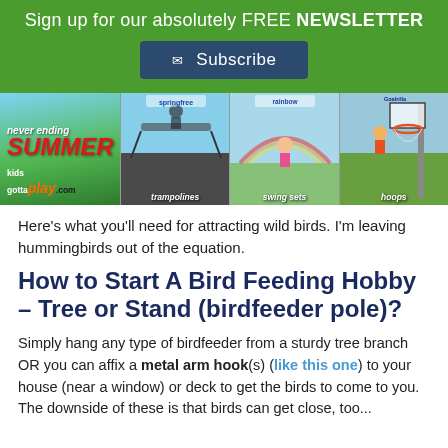Sign up for our absolutely FREE NEWSLETTER
[Figure (infographic): Never Ending Summer kids gotta play.com advertisement banner with trampolines, swing sets/rainbow, and hoops product photos]
Here's what you'll need for attracting wild birds. I'm leaving hummingbirds out of the equation.
How to Start A Bird Feeding Hobby – Tree or Stand (birdfeeder pole)?
Simply hang any type of birdfeeder from a sturdy tree branch OR you can affix a metal arm hook(s) (like this one) to your house (near a window) or deck to get the birds to come to you. The downside of these is that birds can get close, too...